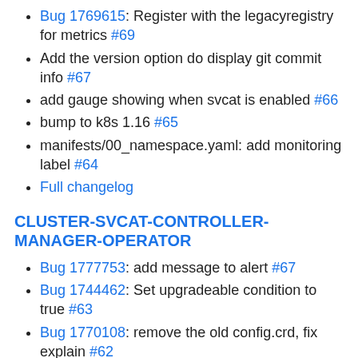Bug 1769615: Register with the legacyregistry for metrics #69
Add the version option do display git commit info #67
add gauge showing when svcat is enabled #66
bump to k8s 1.16 #65
manifests/00_namespace.yaml: add monitoring label #64
Full changelog
CLUSTER-SVCAT-CONTROLLER-MANAGER-OPERATOR
Bug 1777753: add message to alert #67
Bug 1744462: Set upgradeable condition to true #63
Bug 1770108: remove the old config.crd, fix explain #62
Bug 1744462: set Upgradeable value and other messages #61
Bug 1769601: Register with the legacyregistry for